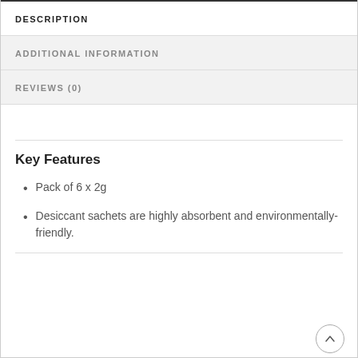DESCRIPTION
ADDITIONAL INFORMATION
REVIEWS (0)
Key Features
Pack of 6 x 2g
Desiccant sachets are highly absorbent and environmentally-friendly.